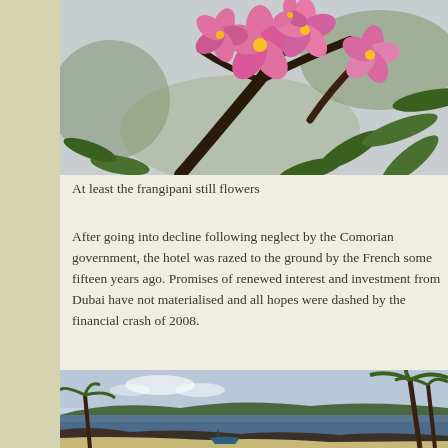[Figure (photo): Close-up photograph of pink frangipani (plumeria) flowers with dark branches and green leaves against a light sky background]
At least the frangipani still flowers
After going into decline following neglect by the Comorian government, the hotel was razed to the ground by the French some fifteen years ago. Promises of renewed interest and investment from Dubai have not materialised and all hopes were dashed by the financial crash of 2008.
[Figure (photo): Coastal landscape photograph showing a tropical shoreline with palm trees, rocky coast, blue water, and sandy beach with a small boat visible]